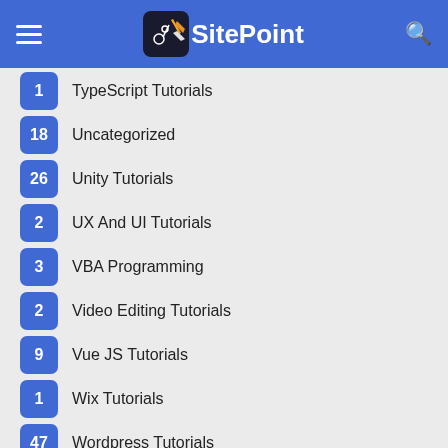SitePoint
1 TypeScript Tutorials
18 Uncategorized
26 Unity Tutorials
2 UX And UI Tutorials
3 VBA Programming
2 Video Editing Tutorials
9 Vue JS Tutorials
1 Wix Tutorials
47 Wordpress Tutorials
1 Xamarin Tutorials
1 Xcode Tutorials
10 YouTube Marketing Tutorials